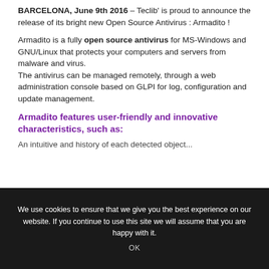BARCELONA, June 9th 2016 – Teclib' is proud to announce the release of its bright new Open Source Antivirus : Armadito !
Armadito is a fully open source antivirus for MS-Windows and GNU/Linux that protects your computers and servers from malware and virus. The antivirus can be managed remotely, through a web administration console based on GLPI for log, configuration and update management.
Armadito features user-friendly and innovative characteristics, such as:
An intuitive and history of each detected object...
We use cookies to ensure that we give you the best experience on our website. If you continue to use this site we will assume that you are happy with it.   OK